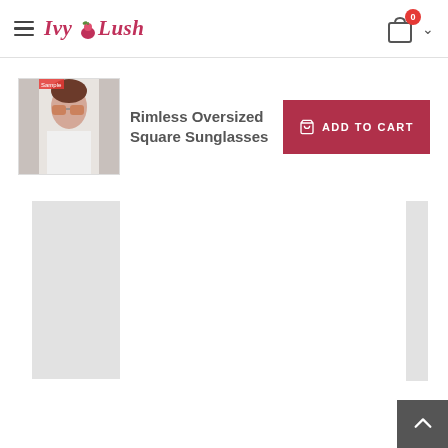Ivy Lush — navigation header with hamburger menu, logo, and cart icon (0 items)
Rimless Oversized Square Sunglasses
[Figure (photo): Thumbnail image of a woman wearing rimless oversized square sunglasses]
ADD TO CART
[Figure (photo): Main product image area showing loading placeholders / grey rectangles for product gallery view]